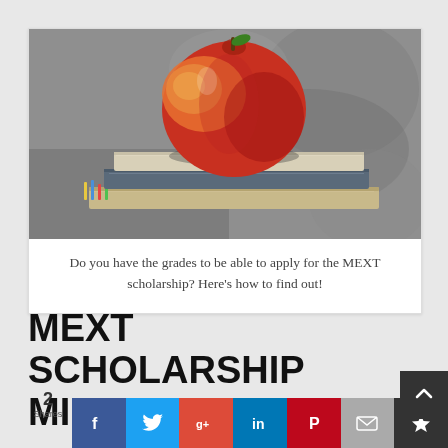[Figure (photo): An apple sitting on top of a stack of books against a grey textured background — an education-themed photograph]
Do you have the grades to be able to apply for the MEXT scholarship? Here's how to find out!
MEXT SCHOLARSHIP MINIMUM GPA
2 Shares
[Figure (infographic): Social sharing bar with buttons: Facebook, Twitter, Google+, LinkedIn, Pinterest, Email, Crown/save icon]